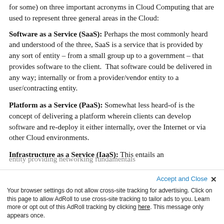for some) on three important acronyms in Cloud Computing that are used to represent three general areas in the Cloud:
Software as a Service (SaaS): Perhaps the most commonly heard and understood of the three, SaaS is a service that is provided by any sort of entity – from a small group up to a government – that provides software to the client.  That software could be delivered in any way; internally or from a provider/vendor entity to a user/contracting entity.
Platform as a Service (PaaS): Somewhat less heard-of is the concept of delivering a platform wherein clients can develop software and re-deploy it either internally, over the Internet or via other Cloud environments.
Infrastructure as a Service (IaaS): This entails an entity providing networking fundamentals...
Your browser settings do not allow cross-site tracking for advertising. Click on this page to allow AdRoll to use cross-site tracking to tailor ads to you. Learn more or opt out of this AdRoll tracking by clicking here. This message only appears once.